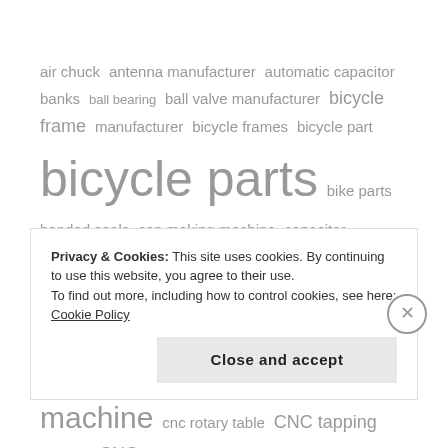air chuck antenna manufacturer automatic capacitor banks ball bearing ball valve manufacturer bicycle frame manufacturer bicycle frames bicycle part bicycle parts bike parts bonded seals can making machine capacitor manufacturer capacitors chucks CNC double column machining center cnc lathe CNC Lathes cnc milling machine cnc rotary table CNC tapping center CNC toolroom lathe cnc turning center cosmetic packaging CPU
Privacy & Cookies: This site uses cookies. By continuing to use this website, you agree to their use. To find out more, including how to control cookies, see here: Cookie Policy
Close and accept